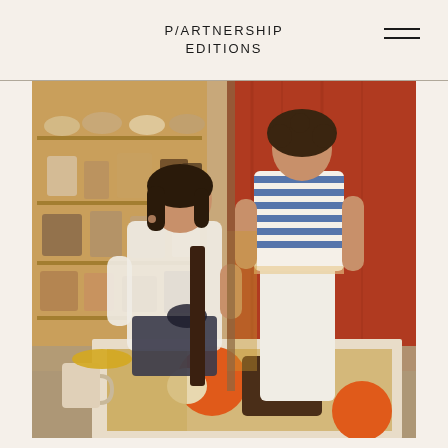P/ARTNERSHIP EDITIONS
[Figure (photo): Two women standing/sitting in a ceramics studio with shelves of pottery behind them and a large colorful abstract print on the table in the foreground]